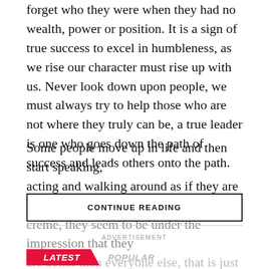forget who they were when they had no wealth, power or position. It is a sign of true success to excel in humbleness, as we rise our character must rise up with us. Never look down upon people, we must always try to help those who are not where they truly can be, a true leader is one who goes down the path of success and leads others onto the path.
Some people move up in life and then start speaking, acting and walking around as if they are the creme de la creme, they seem to be under the impression that they are better then everyone else, that is just pure arrogance
CONTINUE READING
ADVERTISEMENT
LATEST   POPULAR